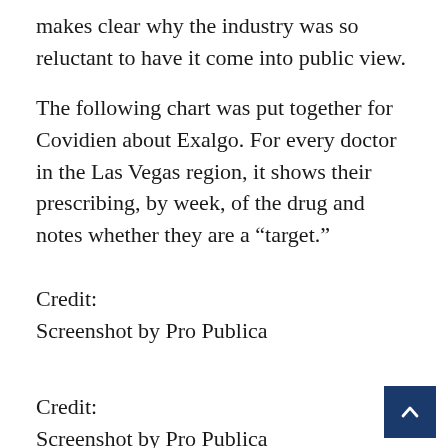makes clear why the industry was so reluctant to have it come into public view.
The following chart was put together for Covidien about Exalgo. For every doctor in the Las Vegas region, it shows their prescribing, by week, of the drug and notes whether they are a “target.”
Credit:
Screenshot by Pro Publica
Credit:
Screenshot by Pro Publica
The documents also showed how closely